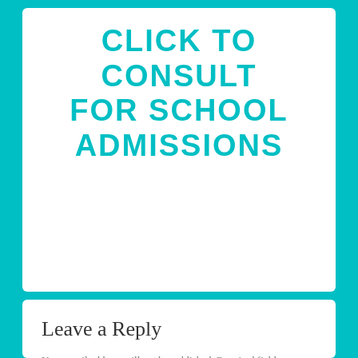CLICK TO CONSULT FOR SCHOOL ADMISSIONS
Leave a Reply
Your email address will not be published. Required fields are marked *
Comment *